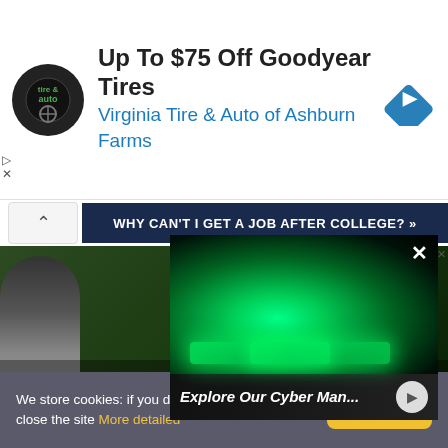[Figure (advertisement): Ad banner: circular Virginia Tire & Auto logo on left, headline 'Up To $75 Off Goodyear Tires', subline 'Virginia Tire & Auto of Ashburn Farms', blue diamond navigation icon on right]
WHY CAN'T I GET A JOB AFTER COLLEGE? »
[Figure (photo): Dark background image area partially visible, with a popup overlay showing a close-up photo of fingers on green-glowing keyboard keys. Bottom of popup reads 'Explore Our Cyber Man...' with a circular icon.]
We store cookies: if you do not agree, you can close the site More detailed
To accept